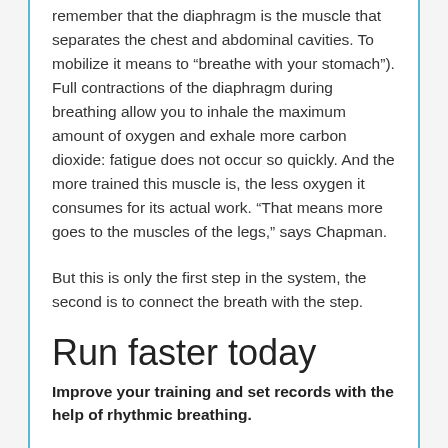remember that the diaphragm is the muscle that separates the chest and abdominal cavities. To mobilize it means to “breathe with your stomach”). Full contractions of the diaphragm during breathing allow you to inhale the maximum amount of oxygen and exhale more carbon dioxide: fatigue does not occur so quickly. And the more trained this muscle is, the less oxygen it consumes for its actual work. “That means more goes to the muscles of the legs,” says Chapman.
But this is only the first step in the system, the second is to connect the breath with the step.
Run faster today
Improve your training and set records with the help of rhythmic breathing.